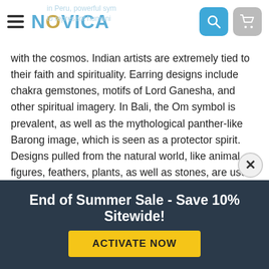NOVICA
with the cosmos. Indian artists are extremely tied to their faith and spirituality. Earring designs include chakra gemstones, motifs of Lord Ganesha, and other spiritual imagery. In Bali, the Om symbol is prevalent, as well as the mythological panther-like Barong image, which is seen as a protector spirit. Designs pulled from the natural world, like animal figures, feathers, plants, as well as stones, are used in almost every culture, which then infuses them with their own particular meanings.
Are there any eco-friendly women's earrings?
What materials are best for women's earrings?
End of Summer Sale - Save 10% Sitewide!
ACTIVATE NOW